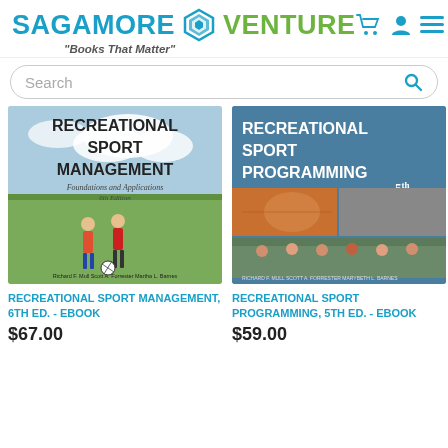SAGAMORE VENTURE - Books That Matter
[Figure (screenshot): Search bar with placeholder text 'Search' and a teal search icon on the right]
[Figure (photo): Book cover: Recreational Sport Management, Foundations and Applications, 6th Edition by Richard F. Mull, Scott A. Forrester, Martha L. Barnes. Shows children playing soccer.]
[Figure (photo): Book cover: Recreational Sport Programming, 5th Edition by Richard F. Mull, Scott A. Forrester, Marybeth L. Barnes. Shows sports collage images.]
RECREATIONAL SPORT MANAGEMENT, 6TH ED. - EBOOK
$67.00
RECREATIONAL SPORT PROGRAMMING, 5TH ED. - EBOOK
$59.00